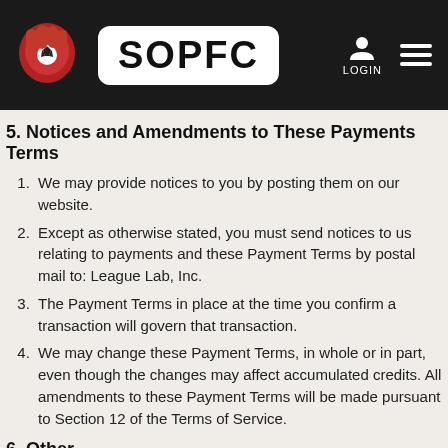SOPFC - LOGIN
5. Notices and Amendments to These Payments Terms
We may provide notices to you by posting them on our website.
Except as otherwise stated, you must send notices to us relating to payments and these Payment Terms by postal mail to: League Lab, Inc.
The Payment Terms in place at the time you confirm a transaction will govern that transaction.
We may change these Payment Terms, in whole or in part, even though the changes may affect accumulated credits. All amendments to these Payment Terms will be made pursuant to Section 12 of the Terms of Service.
6. Other
All of the commitments you make in the League Lab